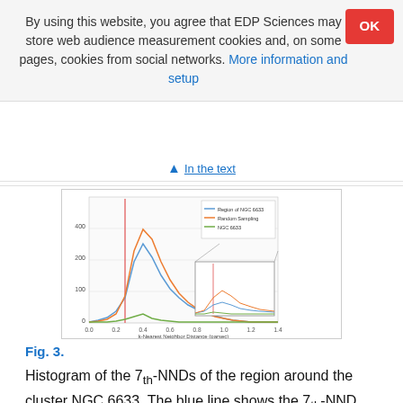By using this website, you agree that EDP Sciences may store web audience measurement cookies and, on some pages, cookies from social networks. More information and setup
▲ In the text
[Figure (continuous-plot): Histogram of 7th-NND distributions showing overlapping line plots: blue line for region around NGC 6633, orange line for random sampling, and green line for NGC 6633 itself. A vertical red line marks a specific value. An inset zooms into the tail region. X-axis labeled as 'k-Nearest Neighbor Distance (parsec)', y-axis shows counts up to ~400.]
Fig. 3.
Histogram of the 7th-NNDs of the region around the cluster NGC 6633. The blue line shows the 7th-NND histogram of all the stars in that sky region in the GAIA catalog; the 7th-NND